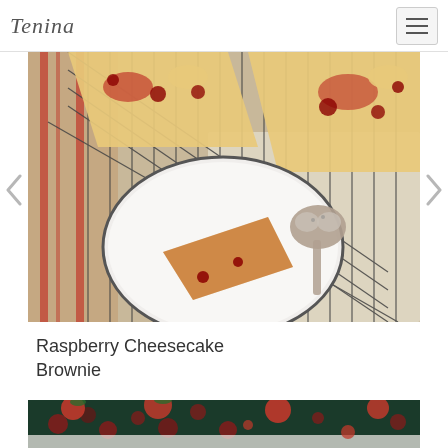Tenina
[Figure (photo): Overhead photo of raspberry cheesecake brownies on a wire cooling rack, with a decorative heart-shaped spoon and a white enamel plate holding a slice]
Raspberry Cheesecake Brownie
[Figure (photo): Partial view of a red berry dessert on a floral fabric background]